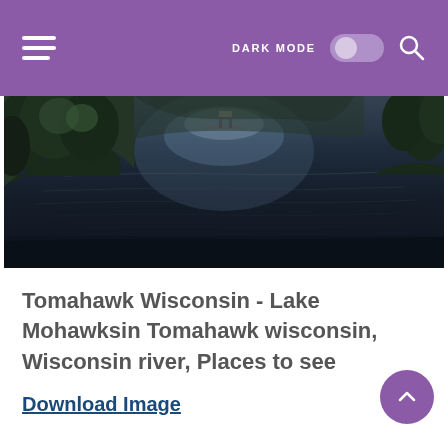DARK MODE [toggle] [search icon]
[Figure (photo): Aerial/ground-level photograph of a calm dark lake or river (Lake Mohawksin) with trees along the shoreline and a dock visible in the background. The water appears dark and reflects the sky. Dense foliage is visible on the left side.]
Tomahawk Wisconsin - Lake Mohawksin Tomahawk wisconsin, Wisconsin river, Places to see
Download Image